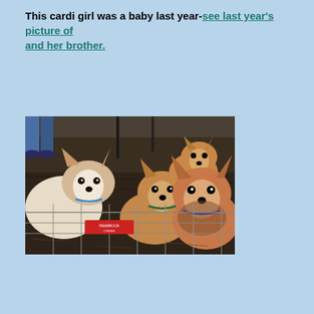This cardi girl was a baby last year-see last year's picture of and her brother.
[Figure (photo): A group of Corgi dogs standing behind a wire fence/pen at what appears to be an outdoor event. Multiple Corgis visible, brown and white coloring, looking toward the camera. Background shows dirt/mulch ground and some people's legs.]